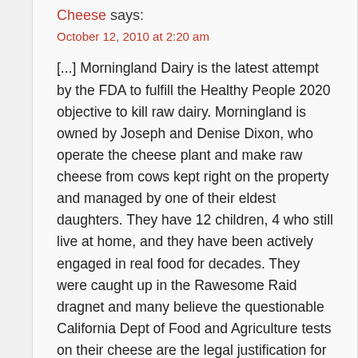Cheese says:
October 12, 2010 at 2:20 am
[...] Morningland Dairy is the latest attempt by the FDA to fulfill the Healthy People 2020 objective to kill raw dairy. Morningland is owned by Joseph and Denise Dixon, who operate the cheese plant and make raw cheese from cows kept right on the property and managed by one of their eldest daughters. They have 12 children, 4 who still live at home, and they have been actively engaged in real food for decades. They were caught up in the Rawesome Raid dragnet and many believe the questionable California Dept of Food and Agriculture tests on their cheese are the legal justification for the multi-agency guns